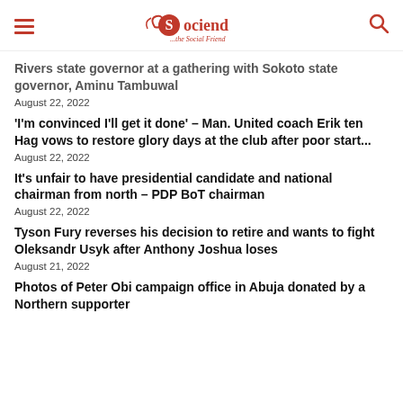Sociend ...the Social Friend
Rivers state governor at a gathering with Sokoto state governor, Aminu Tambuwal
August 22, 2022
'I'm convinced I'll get it done' – Man. United coach Erik ten Hag vows to restore glory days at the club after poor start...
August 22, 2022
It's unfair to have presidential candidate and national chairman from north – PDP BoT chairman
August 22, 2022
Tyson Fury reverses his decision to retire and wants to fight Oleksandr Usyk after Anthony Joshua loses
August 21, 2022
Photos of Peter Obi campaign office in Abuja donated by a Northern supporter